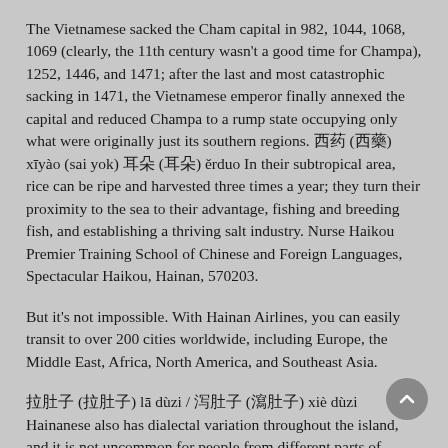The Vietnamese sacked the Cham capital in 982, 1044, 1068, 1069 (clearly, the 11th century wasn't a good time for Champa), 1252, 1446, and 1471; after the last and most catastrophic sacking in 1471, the Vietnamese emperor finally annexed the capital and reduced Champa to a rump state occupying only what were originally just its southern regions. 西药 (西藥) xīyào (sai yok) 耳朵 (耳朵) ěrduo In their subtropical area, rice can be ripe and harvested three times a year; they turn their proximity to the sea to their advantage, fishing and breeding fish, and establishing a thriving salt industry. Nurse Haikou Premier Training School of Chinese and Foreign Languages, Spectacular Haikou, Hainan, 570203.
But it's not impossible. With Hainan Airlines, you can easily transit to over 200 cities worldwide, including Europe, the Middle East, Africa, North America, and Southeast Asia.
拉肚子 (拉肚子) lā dùzi / 泻肚子 (瀉肚子) xiè dùzi Hainanese also has dialectal variation throughout the island, and it is not uncommon for people from different parts of Hainan to converse with each other in Mandarin instead. Feet The Cham